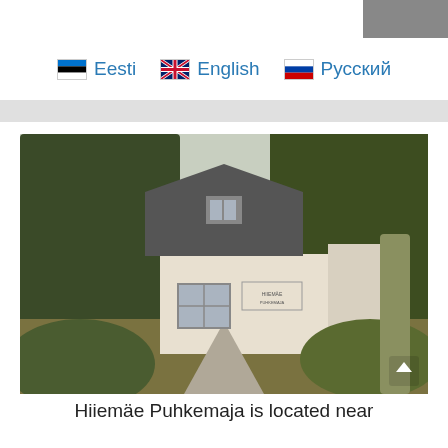Eesti   English   Русский
[Figure (photo): A small white house with a dark gabled roof visible through trees, approached by a gravel path lined with grass and shrubs. A sign on the building reads something in Estonian. Surrounded by greenery.]
Hiiemäe Puhkemaja is located near